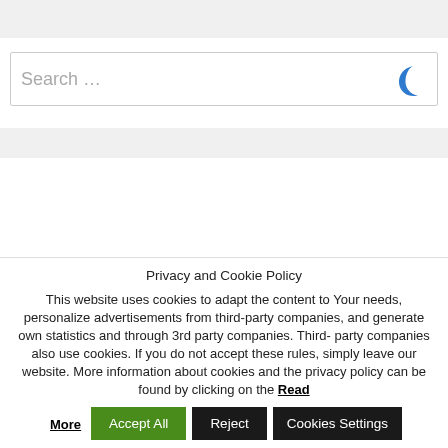[Figure (screenshot): Search bar with placeholder text 'Search ...' and a dark mode moon icon on the right side]
Privacy and Cookie Policy
This website uses cookies to adapt the content to Your needs, personalize advertisements from third-party companies, and generate own statistics and through 3rd party companies. Third-party companies also use cookies. If you do not accept these rules, simply leave our website. More information about cookies and the privacy policy can be found by clicking on the Read More
Accept All
Reject
Cookies Settings